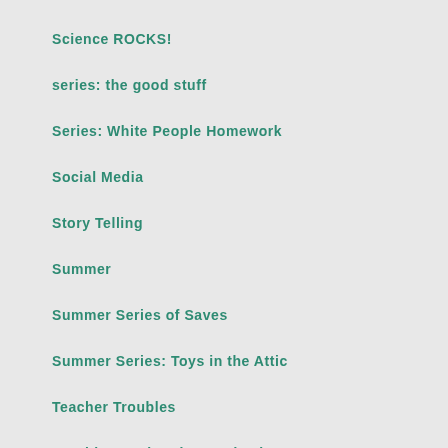Science ROCKS!
series: the good stuff
Series: White People Homework
Social Media
Story Telling
Summer
Summer Series of Saves
Summer Series: Toys in the Attic
Teacher Troubles
Teaching During the Pandemic
Technol…